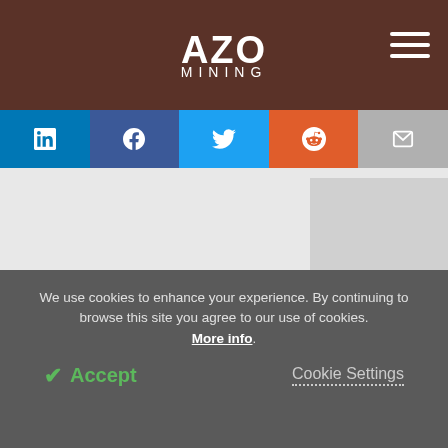AZO MINING
[Figure (screenshot): Social media sharing bar with LinkedIn, Facebook, Twitter, Reddit, and Email buttons]
[Figure (photo): Product image showing equipment on a stand — partial view at top of content area]
Guaranteed* Accuracy and Precision
Future Work
We use cookies to enhance your experience. By continuing to browse this site you agree to our use of cookies. More info.
✓ Accept   Cookie Settings